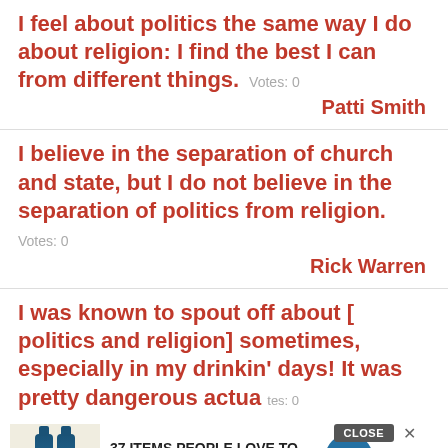I feel about politics the same way I do about religion: I find the best I can from different things.  Votes: 0
Patti Smith
I believe in the separation of church and state, but I do not believe in the separation of politics from religion.  Votes: 0
Rick Warren
I was known to spout off about [ politics and religion] sometimes, especially in my drinkin' days! It was pretty dangerous actua...  Votes: 0
...Young
[Figure (screenshot): Advertisement banner: '37 ITEMS PEOPLE LOVE TO PURCHASE ON AMAZON' with product bottles image and 22 Words logo, with CLOSE button]
When you have people together who believe in something very strongly, whether it's religion...